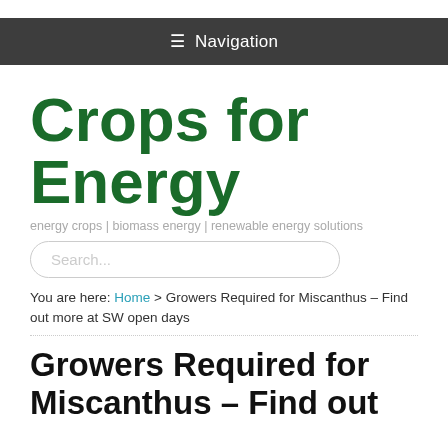☰ Navigation
Crops for Energy
energy crops | biomass energy | renewable energy solutions
Search...
You are here: Home > Growers Required for Miscanthus – Find out more at SW open days
Growers Required for Miscanthus – Find out more at SW open days